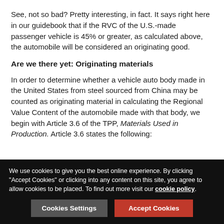See, not so bad? Pretty interesting, in fact. It says right here in our guidebook that if the RVC of the U.S.-made passenger vehicle is 45% or greater, as calculated above, the automobile will be considered an originating good.
Are we there yet: Originating materials
In order to determine whether a vehicle auto body made in the United States from steel sourced from China may be counted as originating material in calculating the Regional Value Content of the automobile made with that body, we begin with Article 3.6 of the TPP, Materials Used in Production. Article 3.6 states the following:
Each Party shall provide that if a non-originating material undergoes further production such that it satisfies the requirements of this Chapter, the material is treated as
We use cookies to give you the best online experience. By clicking "Accept Cookies" or clicking into any content on this site, you agree to allow cookies to be placed. To find out more visit our cookie policy.